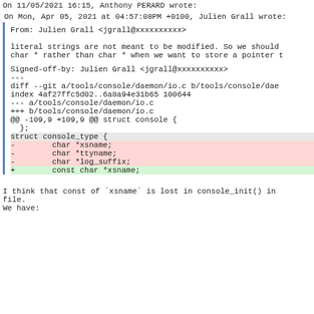On 11/05/2021 16:15, Anthony PERARD wrote:
On Mon, Apr 05, 2021 at 04:57:08PM +0100, Julien Grall wrote:
From: Julien Grall <jgrall@xxxxxxxxxx>
literal strings are not meant to be modified. So we should
char * rather than char * when we want to store a pointer t
Signed-off-by: Julien Grall <jgrall@xxxxxxxxxx>
---
diff --git a/tools/console/daemon/io.c b/tools/console/dae
index 4af27ffc5d02..6a8a94e31b65 100644
--- a/tools/console/daemon/io.c
+++ b/tools/console/daemon/io.c
@@ -109,9 +109,9 @@ struct console {
   };
struct console_type {
-        char *xsname;
-        char *ttyname;
-        char *log_suffix;
+        const char *xsname;
I think that const of `xsname` is lost in console_init() in
file.
We have: